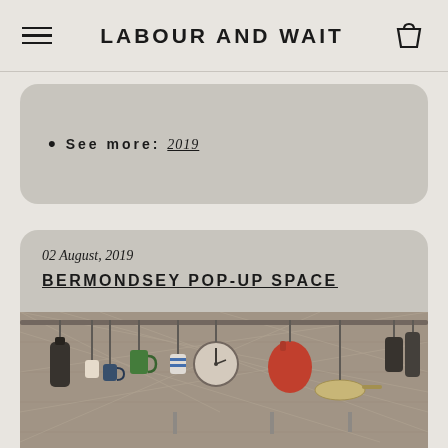LABOUR AND WAIT
See more: 2019
02 August, 2019
BERMONDSEY POP-UP SPACE
[Figure (photo): Interior photo of Bermondsey pop-up space showing various kitchen and household items hanging from a metal grid wall — mugs, pots, a clock, a red kettle, pans, pendant lights, and shelving with more items below.]